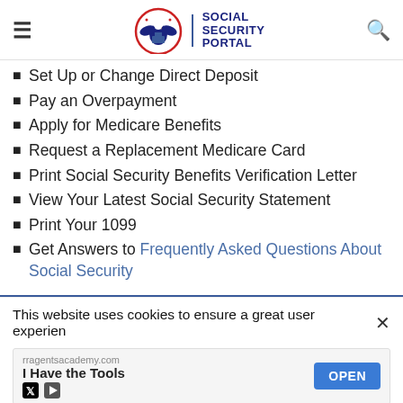Social Security Portal
Set Up or Change Direct Deposit
Pay an Overpayment
Apply for Medicare Benefits
Request a Replacement Medicare Card
Print Social Security Benefits Verification Letter
View Your Latest Social Security Statement
Print Your 1099
Get Answers to Frequently Asked Questions About Social Security
This website uses cookies to ensure a great user experien
[Figure (screenshot): Advertisement banner: rragentsacademy.com — I Have the Tools, with OPEN button]